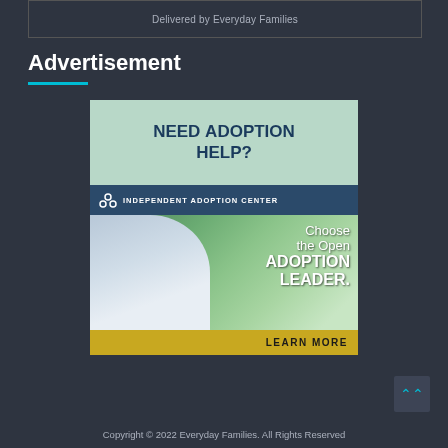Delivered by Everyday Families
Advertisement
[Figure (illustration): Advertisement banner for Independent Adoption Center. Top section has light green background with text 'NEED ADOPTION HELP?'. Below is a dark blue bar with the Independent Adoption Center logo and name. The main section shows a smiling baby in a blue hoodie looking up, with green bokeh background and white text 'Choose the Open ADOPTION LEADER.' A gold bar at the bottom reads 'LEARN MORE'.]
Copyright © 2022 Everyday Families. All Rights Reserved